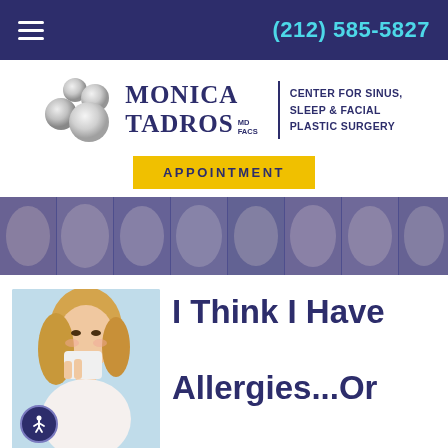(212) 585-5827
[Figure (logo): Monica Tadros MD FACS logo with pearl spheres — Center for Sinus, Sleep & Facial Plastic Surgery]
APPOINTMENT
[Figure (photo): Banner strip showing multiple facial close-up photos with purple tint overlay]
[Figure (photo): Woman blowing her nose into a tissue against a light blue background]
I Think I Have Allergies...Or